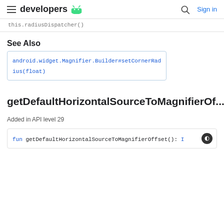developers
this.radiusDispatcher()
See Also
android.widget.Magnifier.Builder#setCornerRadius(float)
getDefaultHorizontalSourceToMagnifierOf...
Added in API level 29
fun getDefaultHorizontalSourceToMagnifierOffset(): I